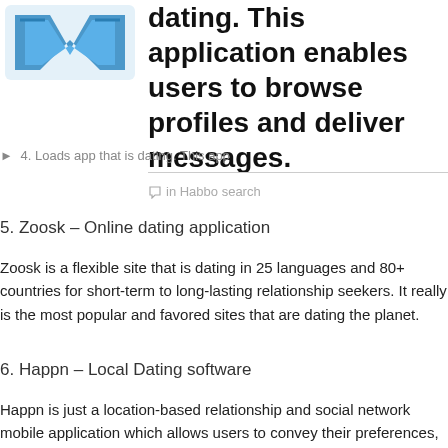[Figure (logo): Blue stylized 'W' logo with angular geometric design]
dating. This application enables users to browse profiles and deliver messages.
4. Loads ... app that is dating. This app
in Habbo search
5. Zoosk – Online dating application
Zoosk is a flexible site that is dating in 25 languages and 80+ countries for short-term to long-lasting relationship seekers. It really is the most popular and favored sites that are dating the planet.
6. Happn – Local Dating software
Happn is just a location-based relationship and social network mobile application which allows users to convey their preferences, sync other